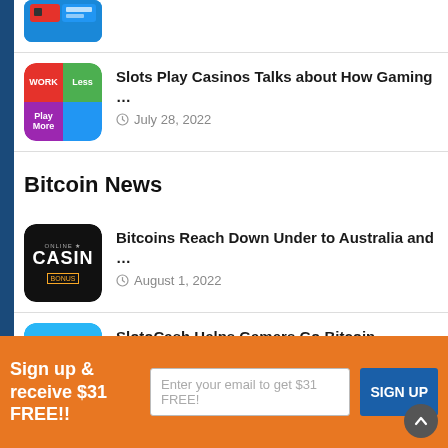[Figure (screenshot): Partial top article thumbnail (cut off at top)]
Slots Play Casinos Talks about How Gaming … — July 28, 2022
Bitcoin News
Bitcoins Reach Down Under to Australia and … — August 1, 2022
SlotoCash Helps Gamers Go Bitcoin — July 25, 2022
Sign up & receive $31 FREE!! — Enter your email to get $31 FREE! — SIGN UP